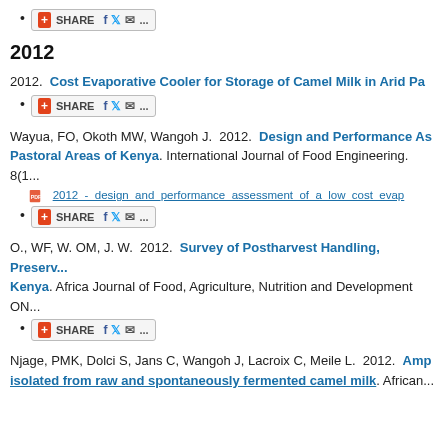SHARE [social share buttons]
2012
2012.  Cost Evaporative Cooler for Storage of Camel Milk in Arid Pa...
SHARE [social share buttons]
Wayua, FO, Okoth MW, Wangoh J.  2012.  Design and Performance As... Pastoral Areas of Kenya. International Journal of Food Engineering. 8(1...
2012_-_design_and_performance_assessment_of_a_low_cost_evap...
SHARE [social share buttons]
O., WF, W. OM, J. W.  2012.  Survey of Postharvest Handling, Preserv... Kenya. Africa Journal of Food, Agriculture, Nutrition and Development ON...
SHARE [social share buttons]
Njage, PMK, Dolci S, Jans C, Wangoh J, Lacroix C, Meile L.  2012.  Amp... isolated from raw and spontaneously fermented camel milk. African...